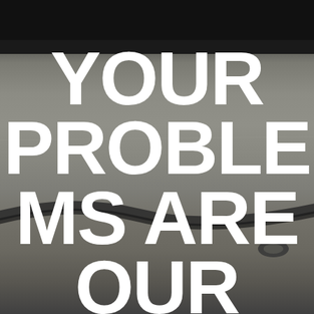[Figure (photo): Blurred background photo of what appears to be a turntable or audio equipment with cables, dark tones. A thick black bar runs horizontally near the top. Large white bold uppercase text overlaid reading YOUR PROBLEMS ARE OUR (text continues below).]
YOUR PROBLEMS ARE OUR